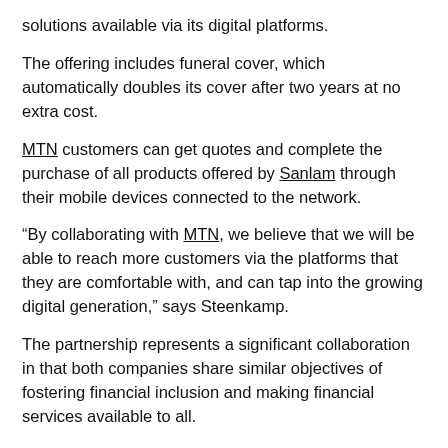solutions available via its digital platforms.
The offering includes funeral cover, which automatically doubles its cover after two years at no extra cost.
MTN customers can get quotes and complete the purchase of all products offered by Sanlam through their mobile devices connected to the network.
“By collaborating with MTN, we believe that we will be able to reach more customers via the platforms that they are comfortable with, and can tap into the growing digital generation,” says Steenkamp.
The partnership represents a significant collaboration in that both companies share similar objectives of fostering financial inclusion and making financial services available to all.
MTN and Sanlam first announced their plans for a joint initiative in July 2019.